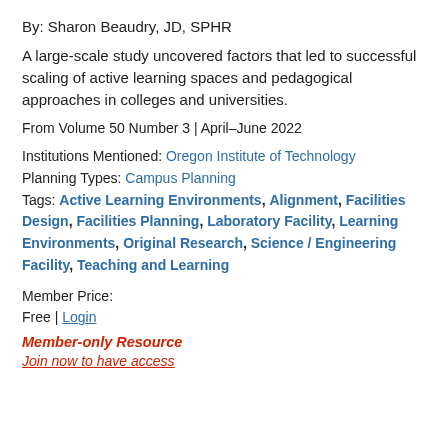By: Sharon Beaudry, JD, SPHR
A large-scale study uncovered factors that led to successful scaling of active learning spaces and pedagogical approaches in colleges and universities.
From Volume 50 Number 3 | April–June 2022
Institutions Mentioned: Oregon Institute of Technology
Planning Types: Campus Planning
Tags: Active Learning Environments, Alignment, Facilities Design, Facilities Planning, Laboratory Facility, Learning Environments, Original Research, Science / Engineering Facility, Teaching and Learning
Member Price:
Free | Login
Member-only Resource
Join now to have access